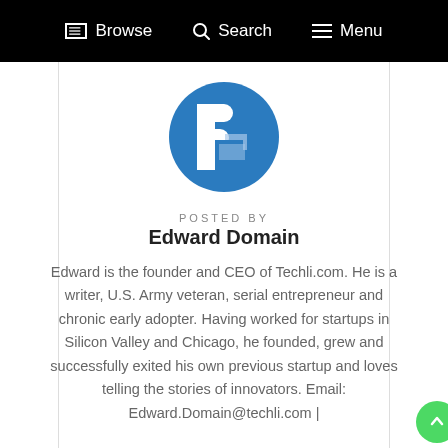Browse  Search  Menu
[Figure (logo): Blue circular logo with white P letter mark for Techli.com]
POSTED BY
Edward Domain
Edward is the founder and CEO of Techli.com. He is a writer, U.S. Army veteran, serial entrepreneur and chronic early adopter. Having worked for startups in Silicon Valley and Chicago, he founded, grew and successfully exited his own previous startup and loves telling the stories of innovators. Email: Edward.Domain@techli.com |